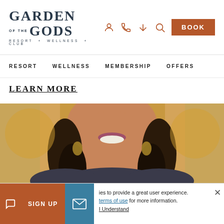[Figure (logo): Garden of the Gods Resort + Wellness + Club logo with serif text]
RESORT   WELLNESS   MEMBERSHIP   OFFERS
LEARN MORE
[Figure (photo): Close-up portrait of a smiling woman with braided hair wearing a dark blazer, warm golden background]
ies to provide a great user experience. terms of use for more information. I Understand